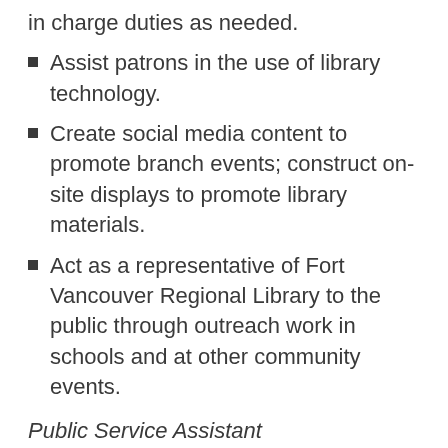in charge duties as needed.
Assist patrons in the use of library technology.
Create social media content to promote branch events; construct on-site displays to promote library materials.
Act as a representative of Fort Vancouver Regional Library to the public through outreach work in schools and at other community events.
Public Service Assistant
Utilizing knowledge of FVRL’s collection, programs, and policies to assist patrons with a friendly and professional demeanor.
Acting as a representative of FVRL to the public, understanding and implementing rules and